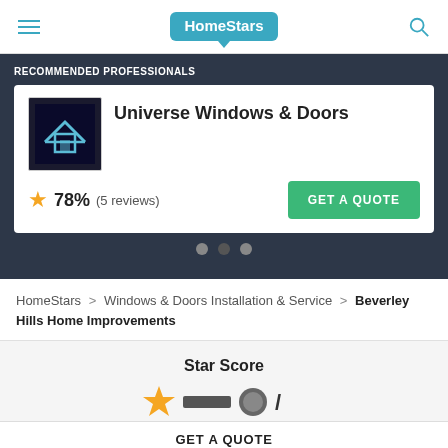HomeStars
RECOMMENDED PROFESSIONALS
Universe Windows & Doors
78% (5 reviews)
GET A QUOTE
HomeStars > Windows & Doors Installation & Service > Beverley Hills Home Improvements
Star Score
GET A QUOTE